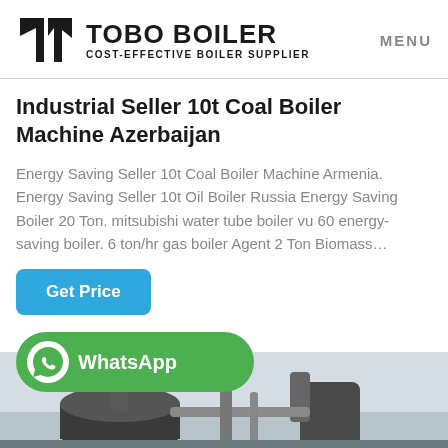TOBO BOILER COST-EFFECTIVE BOILER SUPPLIER  MENU
Industrial Seller 10t Coal Boiler Machine Azerbaijan
Energy Saving Seller 10t Coal Boiler Machine Armenia. Energy Saving Seller 10t Oil Boiler Russia Energy Saving Boiler 20 Ton. mitsubishi water tube boiler vu 60 energy-saving boiler. 6 ton/hr gas boiler Agent 2 Ton Biomass…
Get Price
[Figure (logo): WhatsApp green button with WhatsApp logo and text 'WhatsApp']
[Figure (photo): Industrial coal boiler machinery photograph, showing large cylindrical boiler vessels with pipes against a light sky background]